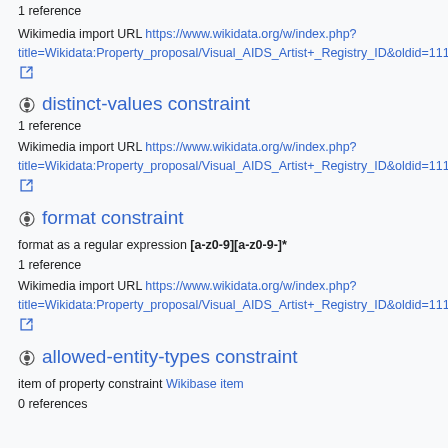1 reference
Wikimedia import URL https://www.wikidata.org/w/index.php?title=Wikidata:Property_proposal/Visual_AIDS_Artist+_Registry_ID&oldid=1115328444
distinct-values constraint
1 reference
Wikimedia import URL https://www.wikidata.org/w/index.php?title=Wikidata:Property_proposal/Visual_AIDS_Artist+_Registry_ID&oldid=1115328444
format constraint
format as a regular expression [a-z0-9][a-z0-9-]*
1 reference
Wikimedia import URL https://www.wikidata.org/w/index.php?title=Wikidata:Property_proposal/Visual_AIDS_Artist+_Registry_ID&oldid=1115328444
allowed-entity-types constraint
item of property constraint Wikibase item
0 references